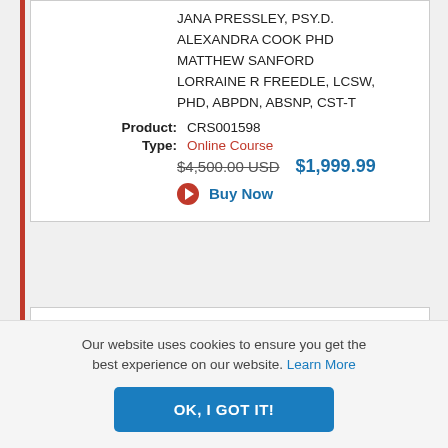JANA PRESSLEY, PSY.D.
ALEXANDRA COOK PHD
MATTHEW SANFORD
LORRAINE R FREEDLE, LCSW, PHD, ABPDN, ABSNP, CST-T
Product: CRS001598
Type: Online Course
$4,500.00 USD   $1,999.99
Buy Now
[Figure (illustration): Dark navy book cover with white bold text reading 'Treating Complex Trauma']
Treating Complex Trauma with Janina Fisher, PhD, and Frank Anderson, MD
Our website uses cookies to ensure you get the best experience on our website. Learn More
OK, I GOT IT!